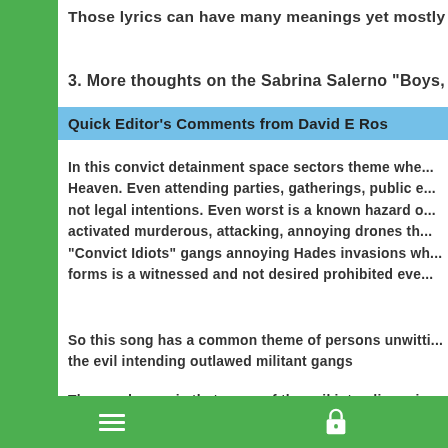Those lyrics can have many meanings yet mostly ha...
3. More thoughts on the Sabrina Salerno "Boys, Bo...
Quick Editor's Comments from David E Ros
In this convict detainment space sectors theme whe... Heaven. Even attending parties, gatherings, public e... not legal intentions. Even worst is a known hazard o... activated murderous, attacking, annoying drones th... "Convict Idiots" gangs annoying Hades invasions wh... forms is a witnessed and not desired prohibited eve...
So this song has a common theme of persons unwitti... the evil intending outlawed militant gangs
The good news is that many of the evil intending mi... the Owner. Then the militant gangs members are be...
☰  🔒